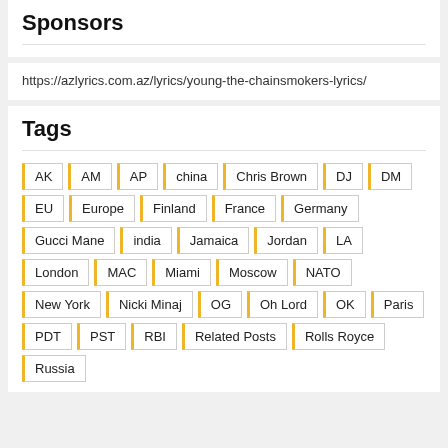Sponsors
https://azlyrics.com.az/lyrics/young-the-chainsmokers-lyrics/
Tags
AK
AM
AP
china
Chris Brown
DJ
DM
EU
Europe
Finland
France
Germany
Gucci Mane
india
Jamaica
Jordan
LA
London
MAC
Miami
Moscow
NATO
New York
Nicki Minaj
OG
Oh Lord
OK
Paris
PDT
PST
RBI
Related Posts
Rolls Royce
Russia